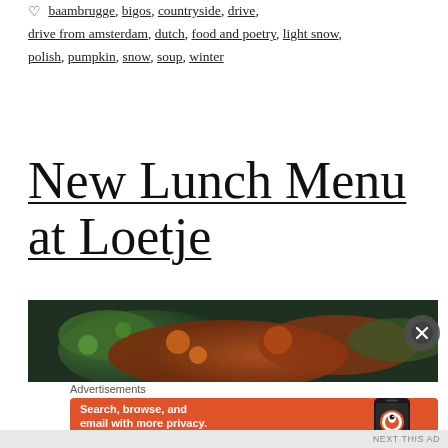baambrugge, bigos, countryside, drive, drive from amsterdam, dutch, food and poetry, light snow, polish, pumpkin, snow, soup, winter
New Lunch Menu at Loetje
[Figure (photo): Close-up photo of food, showing green vegetables and reddish-brown dishes on plates with dark background.]
Advertisements
[Figure (infographic): DuckDuckGo advertisement banner: orange background with white bold text 'Search, browse, and email with more privacy.' and 'All in One Free App' button. Right side shows a phone with DuckDuckGo logo and label 'DuckDuckGo.']